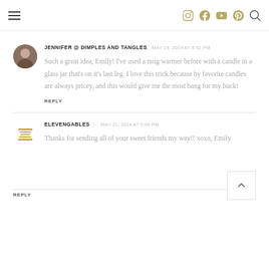Navigation header with hamburger menu and social icons (Instagram, Facebook, YouTube, Pinterest, Search)
JENNIFER @ DIMPLES AND TANGLES · MAY 19, 2014 AT 8:52 PM
Such a great idea, Emily! I've used a mug warmer before with a candle in a glass jar that's on it's last leg. I love this trick because by favorite candles are always pricey, and this would give me the most bang for my buck!
REPLY
ELEVENGABLES · MAY 21, 2014 AT 5:05 PM
Thanks for sending all of your sweet friends my way!! xoxo, Emily
REPLY